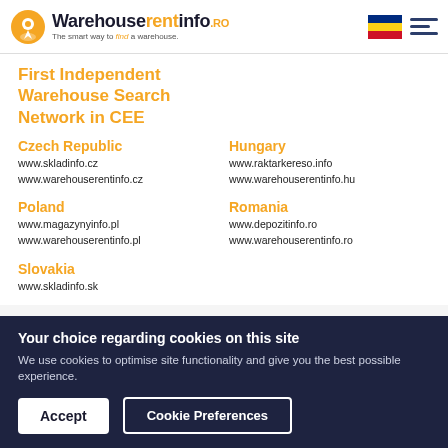Warehouserentinfo.ro — The smart way to find a warehouse.
First Independent Warehouse Search Network in CEE
Czech Republic
www.skladinfo.cz
www.warehouserentinfo.cz
Hungary
www.raktarkereso.info
www.warehouserentinfo.hu
Poland
www.magazynyinfo.pl
www.warehouserentinfo.pl
Romania
www.depozitinfo.ro
www.warehouserentinfo.ro
Slovakia
www.skladinfo.sk
Your choice regarding cookies on this site
We use cookies to optimise site functionality and give you the best possible experience.
Accept
Cookie Preferences